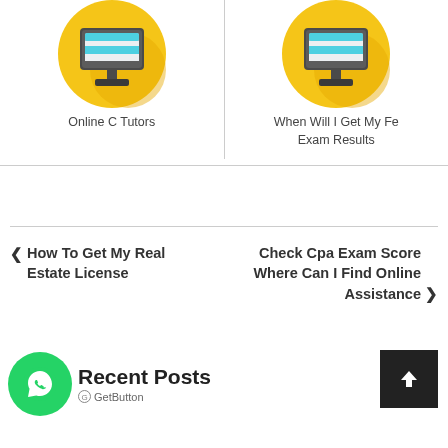[Figure (illustration): Two card thumbnails side by side: left card shows a yellow circle with computer monitor icon labeled 'Online C Tutors', right card shows a yellow circle with computer monitor icon labeled 'When Will I Get My Fe Exam Results']
Online C Tutors
When Will I Get My Fe Exam Results
‹ How To Get My Real Estate License
Check Cpa Exam Score Where Can I Find Online Assistance ›
Recent Posts
GoGetButton